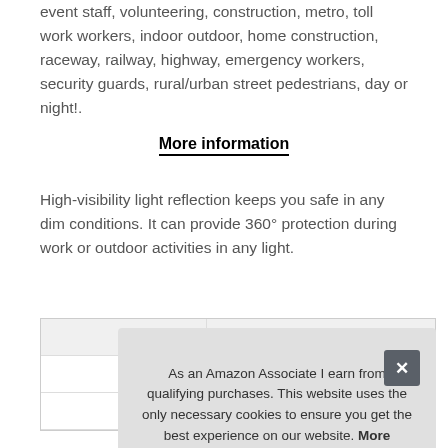event staff, volunteering, construction, metro, toll work workers, indoor outdoor, home construction, raceway, railway, highway, emergency workers, security guards, rural/urban street pedestrians, day or night!.
More information
High-visibility light reflection keeps you safe in any dim conditions. It can provide 360° protection during work or outdoor activities in any light.
| Brand | LYUN |
| --- | --- |
| Ma |  |
| P |  |
As an Amazon Associate I earn from qualifying purchases. This website uses the only necessary cookies to ensure you get the best experience on our website. More information